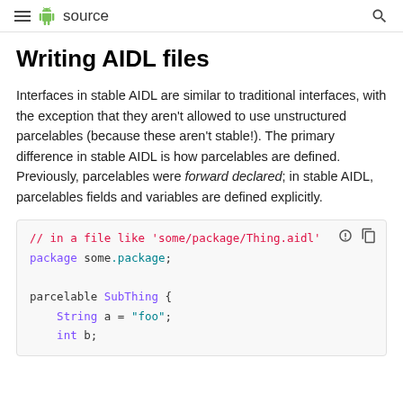≡  source
Writing AIDL files
Interfaces in stable AIDL are similar to traditional interfaces, with the exception that they aren't allowed to use unstructured parcelables (because these aren't stable!). The primary difference in stable AIDL is how parcelables are defined. Previously, parcelables were forward declared; in stable AIDL, parcelables fields and variables are defined explicitly.
[Figure (screenshot): Code block showing AIDL file syntax with comment, package declaration, and parcelable SubThing definition with String and int fields]